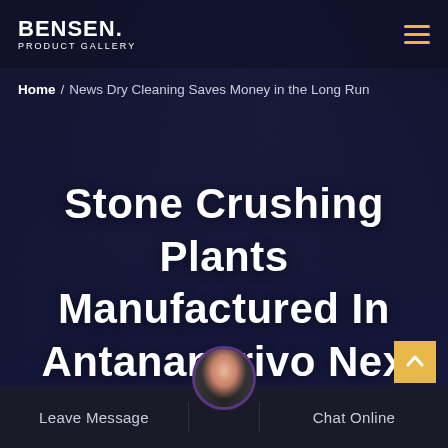BENSEN. PRODUCT GALLERY
Home / News Dry Cleaning Saves Money in the Long Run
Stone Crushing Plants Manufactured In Antananarivo Nex
Leave Message   Chat Online